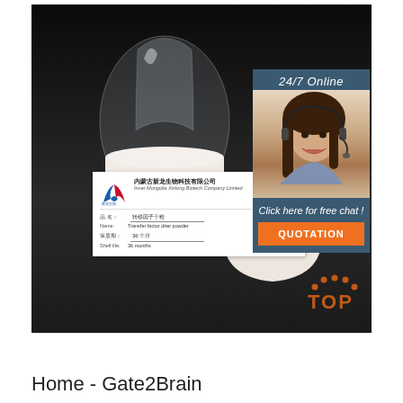[Figure (photo): Product photo of transfer factor dried powder in a large glass egg/flask-shaped container with white powder, shown on dark background. A label card from Inner Mongolia Xinlong Biotech Company Limited is visible showing product name (transfer factor dried powder), shelf life (36 months). A bowl of white powder is visible to the right. An overlay panel shows a customer service representative with '24/7 Online' text and 'Click here for free chat!' with an orange QUOTATION button. A TOP badge with orange dots appears in lower right corner.]
Home - Gate2Brain